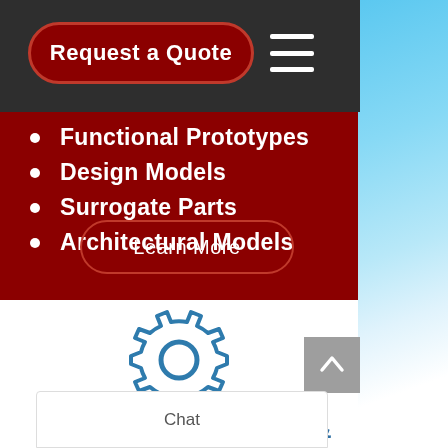[Figure (screenshot): Website header with dark background showing 'Request a Quote' button in dark red rounded rectangle and hamburger menu icon in white]
Functional Prototypes
Design Models
Surrogate Parts
Architectural Models
[Figure (illustration): Learn More button — pill-shaped outline button with white text on dark red background]
[Figure (illustration): Gear/cog icon in teal/steel blue outline style, centered on white background section]
PRODUCTION &
Chat